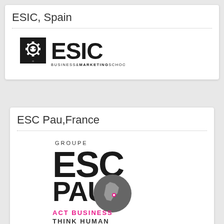ESIC, Spain
[Figure (logo): ESIC Business & Marketing School logo — black square with gear/face icon followed by large ESIC text, with 'BUSINESS&MARKETING SCHOOL' in smaller text below]
ESC Pau,France
[Figure (logo): Groupe ESC PAU logo — large bold ESC text over PAU with a dark globe showing France map in pink/magenta, tagline 'ACT BUSINESS THINK HUMAN' in pink below]